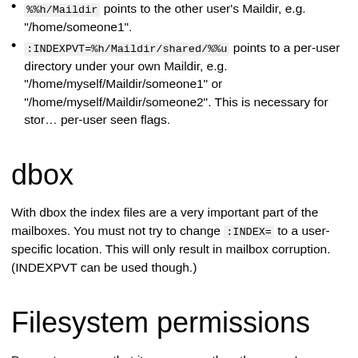%%h/Maildir points to the other user's Maildir, e.g. "/home/someone1".
:INDEXPVT=%h/Maildir/shared/%%u points to a per-user directory under your own Maildir, e.g. "/home/myself/Maildir/someone1" or "/home/myself/Maildir/someone2". This is necessary for storing per-user seen flags.
dbox
With dbox the index files are a very important part of the mailboxes. You must not try to change :INDEX= to a user-specific location. This will only result in mailbox corruption. (INDEXPVT can be used though.)
Filesystem permissions
Dovecot assumes that it can access the other users' mailboxes